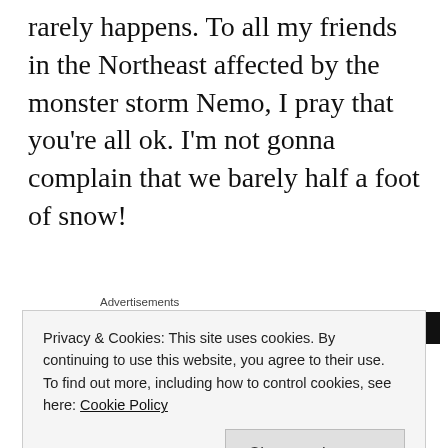rarely happens. To all my friends in the Northeast affected by the monster storm Nemo, I pray that you're all ok. I'm not gonna complain that we barely half a foot of snow!
[Figure (other): Advertisement banner with orange background showing 'Search, browse, and email' text and a dark section with a circular logo on the right.]
I skipped the cinema again as nothing interest me. I had seen Side Effects a couple of weeks
Privacy & Cookies: This site uses cookies. By continuing to use this website, you agree to their use.
To find out more, including how to control cookies, see here: Cookie Policy
theaters. I wouldn't mind rewatching that again